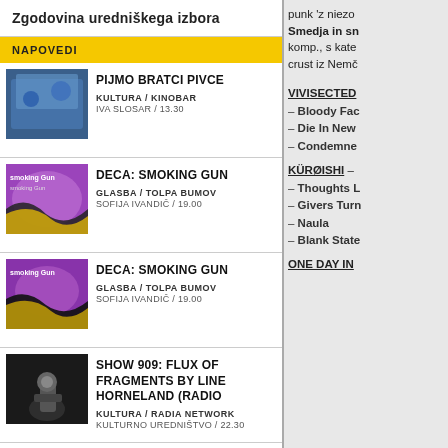Zgodovina uredniškega izbora
NAPOVEDI
PIJMO BRATCI PIVCE
KULTURA / KINOBAR
IVA SLOSAR / 13.30
DECA: SMOKING GUN
GLASBA / TOLPA BUMOV
SOFIJA IVANDIČ / 19.00
DECA: SMOKING GUN
GLASBA / TOLPA BUMOV
SOFIJA IVANDIČ / 19.00
SHOW 909: FLUX OF FRAGMENTS BY LINE HORNELAND (RADIO
KULTURA / RADIA NETWORK
KULTURNO UREDNIŠTVO / 22.30
SAMO FOTR
DRUŽBA / KLOPCA POD SVOBODNIM
ROK PIBERNIK / 18.00
Vse napovedi
punk 'z niezo
Smedja in sn
komp., s kate
crust iz Nemč
VIVISECTED
– Bloody Fac
– Die In New
– Condemne
KÜRØISHI –
– Thoughts L
– Givers Turn
– Naula
– Blank State
ONE DAY IN